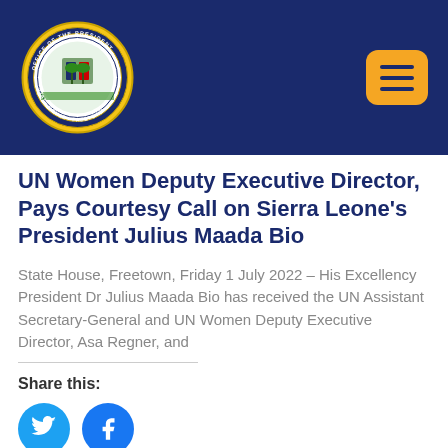[Figure (logo): Sierra Leone Office of the President State House Freetown official seal/crest on dark navy blue header bar with hamburger menu button in orange]
UN Women Deputy Executive Director, Pays Courtesy Call on Sierra Leone's President Julius Maada Bio
State House, Freetown, Friday 1 July 2022 – His Excellency President Dr Julius Maada Bio has received the UN Assistant Secretary-General and UN Women Deputy Executive Director, Asa Regner, and
Share this:
[Figure (other): Twitter and Facebook social share icon buttons (circles)]
READ MORE »